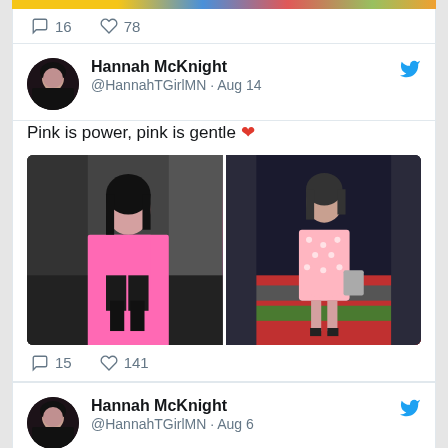[Figure (screenshot): Top colorful banner strip partial]
16  78
Hannah McKnight
@HannahTGirlMN · Aug 14
Pink is power, pink is gentle ❤
[Figure (photo): Two photos of Hannah McKnight in pink outfits side by side]
15  141
Hannah McKnight
@HannahTGirlMN · Aug 6